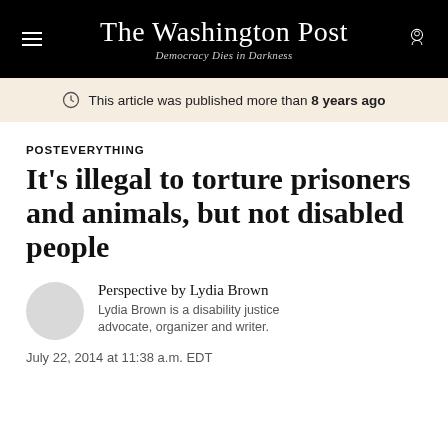The Washington Post — Democracy Dies in Darkness
This article was published more than 8 years ago
POSTEVERYTHING
It’s illegal to torture prisoners and animals, but not disabled people
Perspective by Lydia Brown
Lydia Brown is a disability justice advocate, organizer and writer.
July 22, 2014 at 11:38 a.m. EDT